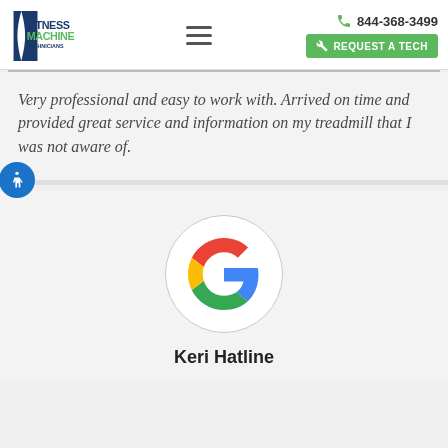FITNESS MACHINE TECHNICIANS | 844-368-3499 | REQUEST A TECH
Very professional and easy to work with. Arrived on time and provided great service and information on my treadmill that I was not aware of.
[Figure (logo): Google 'G' logo in a circle, multicolored (red, yellow, green, blue)]
Keri Hatline